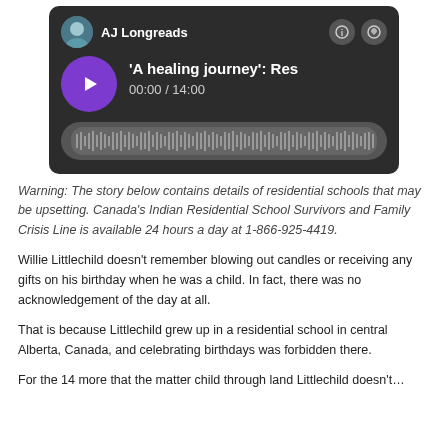[Figure (screenshot): Podcast player UI showing 'AJ Longreads' podcast with episode title ''A healing journey': Res…', time display '00:00 / 14:00', purple play button, and audio waveform visualization on dark background.]
Warning: The story below contains details of residential schools that may be upsetting. Canada's Indian Residential School Survivors and Family Crisis Line is available 24 hours a day at 1-866-925-4419.
Willie Littlechild doesn't remember blowing out candles or receiving any gifts on his birthday when he was a child. In fact, there was no acknowledgement of the day at all.
That is because Littlechild grew up in a residential school in central Alberta, Canada, and celebrating birthdays was forbidden there.
For the 14 more that the matter child through land Littlechild doesn't…